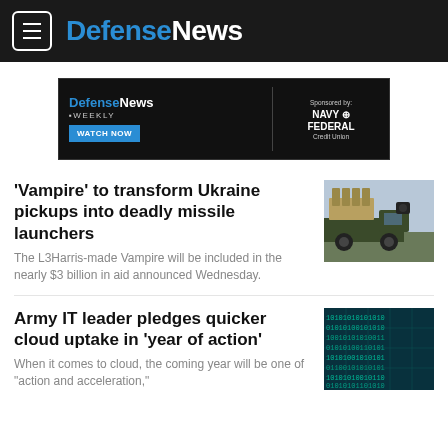DefenseNews
[Figure (screenshot): DefenseNews Weekly advertisement banner with Watch Now button, sponsored by Navy Federal Credit Union]
'Vampire' to transform Ukraine pickups into deadly missile launchers
The L3Harris-made Vampire will be included in the nearly $3 billion in aid announced Wednesday.
[Figure (photo): Military pickup truck with Vampire missile launcher system mounted on the bed, against a blue sky]
Army IT leader pledges quicker cloud uptake in 'year of action'
When it comes to cloud, the coming year will be one of "action and acceleration,"
[Figure (photo): Digital binary code pattern in teal/cyan colors suggesting cybersecurity or digital technology]